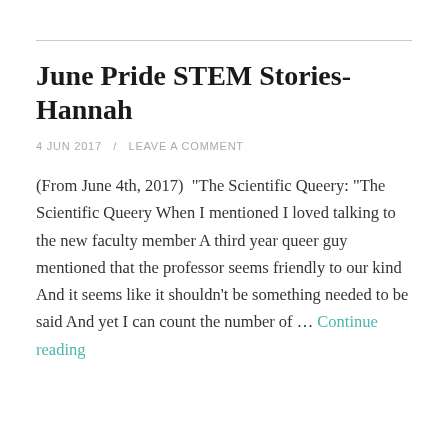June Pride STEM Stories- Hannah
4 JUN 2017  /  LEAVE A COMMENT
(From June 4th, 2017)  "The Scientific Queery: "The Scientific Queery When I mentioned I loved talking to the new faculty member A third year queer guy mentioned that the professor seems friendly to our kind And it seems like it shouldn't be something needed to be said And yet I can count the number of … Continue reading